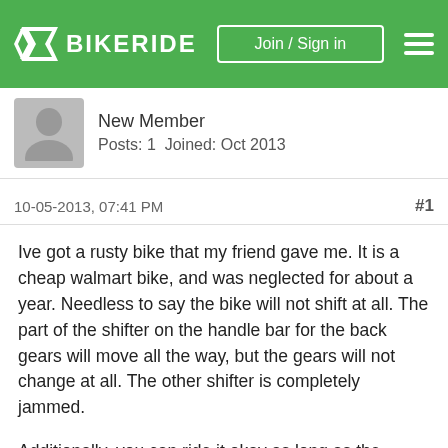BIKERIDE | Join / Sign in
New Member
Posts: 1  Joined: Oct 2013
10-05-2013, 07:41 PM  #1
Ive got a rusty bike that my friend gave me. It is a cheap walmart bike, and was neglected for about a year. Needless to say the bike will not shift at all. The part of the shifter on the handle bar for the back gears will move all the way, but the gears will not change at all. The other shifter is completely jammed.
Additionally, you can ride it okay as long as the pressure on the pedals isnt too bad, but once i go up a hill the bike gives way kinda. The chain doesnt pop off. There is just no more resistance from the